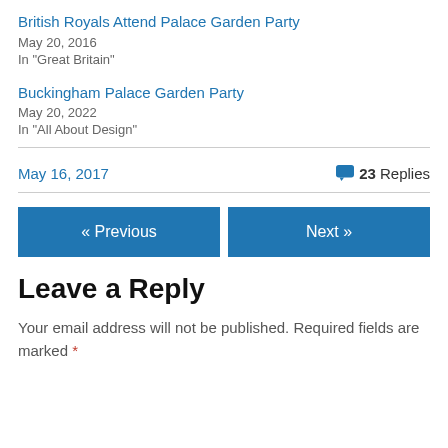British Royals Attend Palace Garden Party
May 20, 2016
In "Great Britain"
Buckingham Palace Garden Party
May 20, 2022
In "All About Design"
May 16, 2017
💬 23 Replies
« Previous
Next »
Leave a Reply
Your email address will not be published. Required fields are marked *